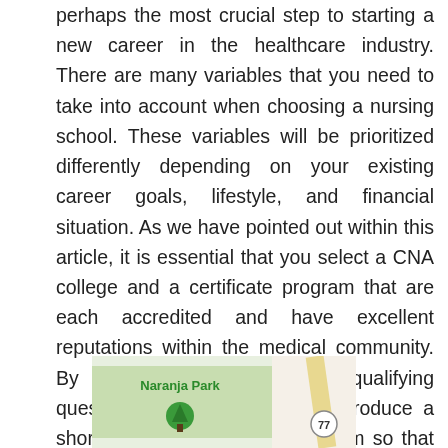perhaps the most crucial step to starting a new career in the healthcare industry. There are many variables that you need to take into account when choosing a nursing school. These variables will be prioritized differently depending on your existing career goals, lifestyle, and financial situation. As we have pointed out within this article, it is essential that you select a CNA college and a certificate program that are each accredited and have excellent reputations within the medical community. By using our checklist of qualifying questions, you will be able to produce a shortlist of schools to choose from so that you can make your final selection. And with the right degree and training, combined with your dedication and ambition to succeed, you can become a CNA in Oro Valley Arizona.
[Figure (map): Partial map screenshot showing Naranja Park area with route 77 visible]